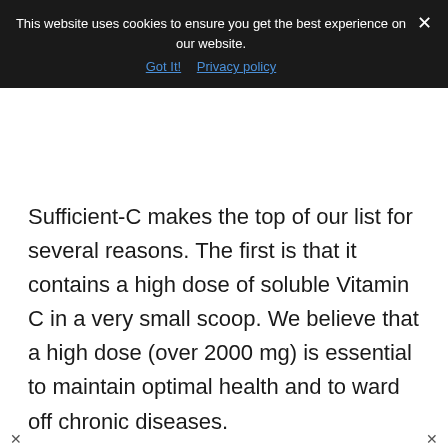This website uses cookies to ensure you get the best experience on our website.
Got It!  Privacy policy
Sufficient-C makes the top of our list for several reasons.  The first is that it contains a high dose of soluble Vitamin C in a very small scoop.  We believe that a high dose (over 2000 mg) is essential to maintain optimal health and to ward off chronic diseases.
In addition to its high dose, Sufficient-C contains crucial elements like L-Lysine, Bromelain and Green Tea Extract.  Of course,